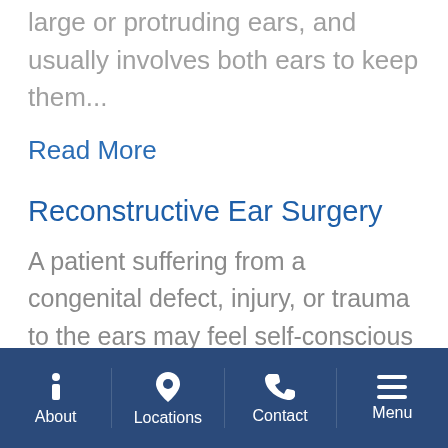large or protruding ears, and usually involves both ears to keep them...
Read More
Reconstructive Ear Surgery
A patient suffering from a congenital defect, injury, or trauma to the ears may feel self-conscious about his or her appearance. Fortunately, help is available; reconstructive ear surgery (known as reconstructive otoplasty) can correct both
About | Locations | Contact | Menu